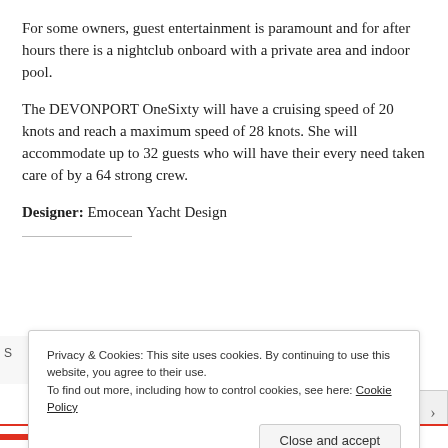For some owners, guest entertainment is paramount and for after hours there is a nightclub onboard with a private area and indoor pool.
The DEVONPORT OneSixty will have a cruising speed of 20 knots and reach a maximum speed of 28 knots. She will accommodate up to 32 guests who will have their every need taken care of by a 64 strong crew.
Designer: Emocean Yacht Design
Privacy & Cookies: This site uses cookies. By continuing to use this website, you agree to their use.
To find out more, including how to control cookies, see here: Cookie Policy
Close and accept